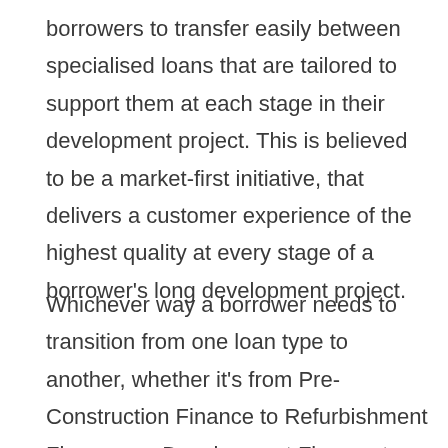borrowers to transfer easily between specialised loans that are tailored to support them at each stage in their development project. This is believed to be a market-first initiative, that delivers a customer experience of the highest quality at every stage of a borrower's long development project.
Whichever way a borrower needs to transition from one loan type to another, whether it's from Pre-Construction Finance to Refurbishment Finance, or Development Finance to a Development Exit loan